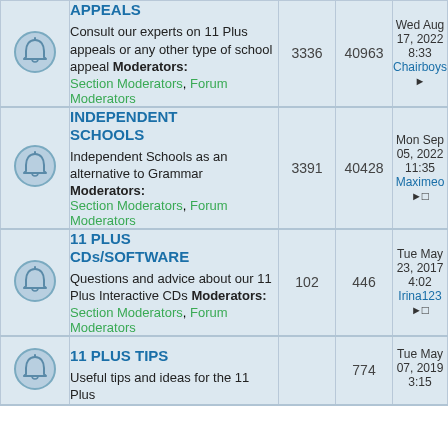|  | Forum | Topics | Posts | Last Post |
| --- | --- | --- | --- | --- |
| [icon] | APPEALS
Consult our experts on 11 Plus appeals or any other type of school appeal
Moderators: Section Moderators, Forum Moderators | 3336 | 40963 | Wed Aug 17, 2022 8:33
Chairboyssupporter → |
| [icon] | INDEPENDENT SCHOOLS
Independent Schools as an alternative to Grammar
Moderators: Section Moderators, Forum Moderators | 3391 | 40428 | Mon Sep 05, 2022 11:35
Maximeo → |
| [icon] | 11 PLUS CDs/SOFTWARE
Questions and advice about our 11 Plus Interactive CDs
Moderators: Section Moderators, Forum Moderators | 102 | 446 | Tue May 23, 2017 4:02
Irina123 → |
| [icon] | 11 PLUS TIPS
Useful tips and ideas for the 11 Plus | ?? | 774 | Tue May 07, 2019 3:15 |